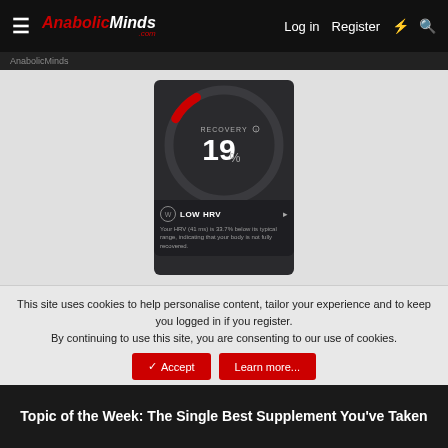AnabolicMinds.com — Log in  Register
[Figure (screenshot): A fitness app screenshot showing a circular gauge with RECOVERY 19% and a LOW HRV warning. The gauge arc is mostly dark grey with a small red segment at the top right. Below reads: Your HRV (41 ms) is 33.7% below its typical range, indicating that your body is not fully recovered.]
This site uses cookies to help personalise content, tailor your experience and to keep you logged in if you register.
By continuing to use this site, you are consenting to our use of cookies.
✓ Accept   Learn more...
Topic of the Week: The Single Best Supplement You've Taken